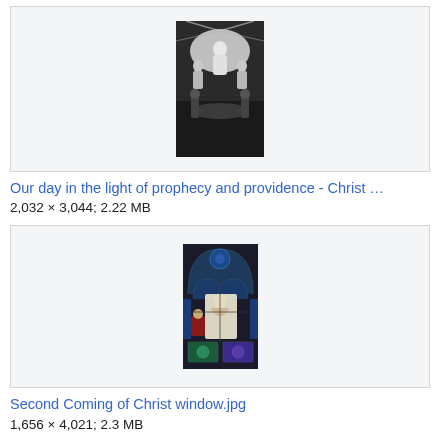[Figure (illustration): Black and white religious illustration showing Christ enthroned with figures around him, from a book cover or frontispiece]
Our day in the light of prophecy and providence - Christ …
2,032 × 3,044; 2.22 MB
[Figure (photo): Color photograph of a stained glass window depicting the Second Coming of Christ, with gothic arch framing, colorful panels showing religious figures]
Second Coming of Christ window.jpg
1,656 × 4,021; 2.3 MB